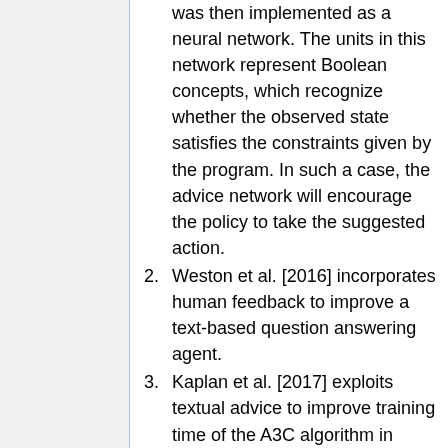was then implemented as a neural network. The units in this network represent Boolean concepts, which recognize whether the observed state satisfies the constraints given by the program. In such a case, the advice network will encourage the policy to take the suggested action.
2. Weston et al. [2016] incorporates human feedback to improve a text-based question answering agent.
3. Kaplan et al. [2017] exploits textual advice to improve training time of the A3C algorithm in playing an Atari game.
The Phrase-based Image Captioning Model is similar to most image